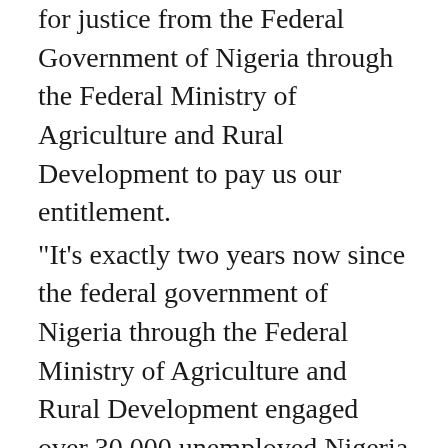for justice from the Federal Government of Nigeria through the Federal Ministry of Agriculture and Rural Development to pay us our entitlement. “It’s exactly two years now since the federal government of Nigeria through the Federal Ministry of Agriculture and Rural Development engaged over 30,000 unemployed Nigeria youths (Exited Npower batch A and B volunteers) under a project tag “Agriculture for food and job plans (AFJP)” which is part of the Economic Sustainability Plan chaired by Vice President, Prof. Yemi Osinbajo, to serve as enumerators to register famers and their farmlands across the country. “This was done with an agreement (engagement letter) that N500 will be paid per valid survey, on the agreement letter, it was stated that the payment will be made on trenches, 50% will be paid on weekly basis while the remaining 50% will be paid at the end of every month after the data have been validated.